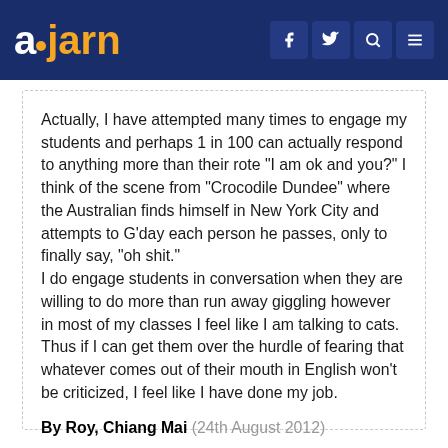ajarn — navigation with facebook, twitter, search, menu icons
Actually, I have attempted many times to engage my students and perhaps 1 in 100 can actually respond to anything more than their rote "I am ok and you?" I think of the scene from "Crocodile Dundee" where the Australian finds himself in New York City and attempts to G'day each person he passes, only to finally say, "oh shit."
I do engage students in conversation when they are willing to do more than run away giggling however in most of my classes I feel like I am talking to cats. Thus if I can get them over the hurdle of fearing that whatever comes out of their mouth in English won't be criticized, I feel like I have done my job.
By Roy, Chiang Mai (24th August 2012)